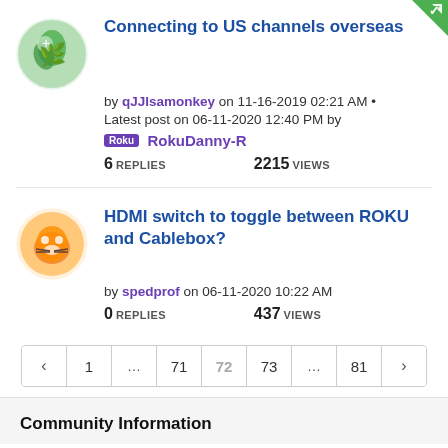Connecting to US channels overseas
by qJJIsamonkey on 11-16-2019 02:21 AM •
Latest post on 06-11-2020 12:40 PM by RokuDanny-R
6 REPLIES   2215 VIEWS
HDMI switch to toggle between ROKU and Cablebox?
by spedprof on 06-11-2020 10:22 AM
0 REPLIES   437 VIEWS
< 1 ... 71 72 73 ... 81 >
Community Information